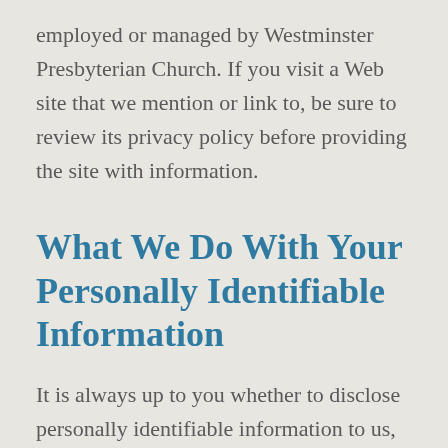employed or managed by Westminster Presbyterian Church. If you visit a Web site that we mention or link to, be sure to review its privacy policy before providing the site with information.
What We Do With Your Personally Identifiable Information
It is always up to you whether to disclose personally identifiable information to us,